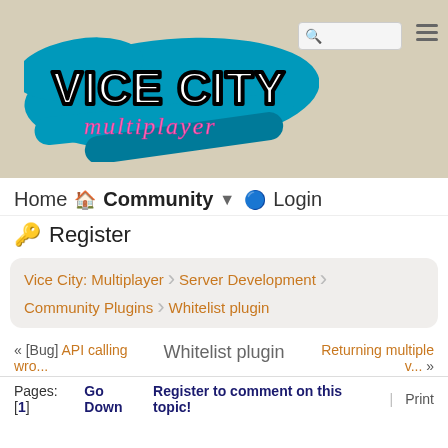[Figure (logo): Vice City Multiplayer logo: white bold text 'VICE CITY' with black outline on teal/blue brush stroke background, pink cursive 'multiplayer' script below]
Home 🏠 Community ▼ 🔵 Login
🔑 Register
Vice City: Multiplayer   Server Development   Community Plugins   Whitelist plugin
« [Bug] API calling wro...   Whitelist plugin   Returning multiple v... »
Pages: [1]   Go Down   Register to comment on this topic!   Print